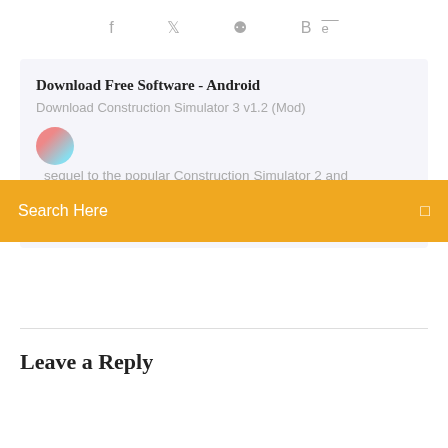f  ✦  Be
Download Free Software - Android
Download Construction Simulator 3 v1.2 (Mod)
Search Here
sequel to the popular Construction Simulator 2 and Construction Simulator 2014 with officially licensed vehicles by famous brands: Caterpillar...
Leave a Reply